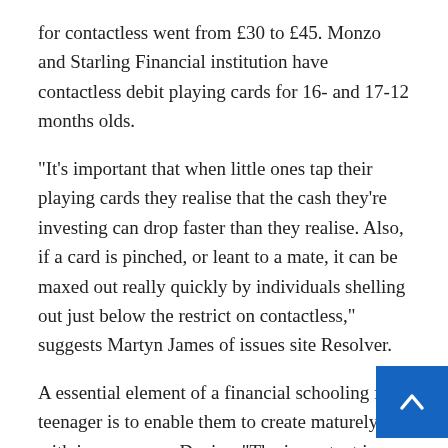for contactless went from £30 to £45. Monzo and Starling Financial institution have contactless debit playing cards for 16- and 17-12 months olds.
“It’s important that when little ones tap their playing cards they realise that the cash they’re investing can drop faster than they realise. Also, if a card is pinched, or leant to a mate, it can be maxed out really quickly by individuals shelling out just below the restrict on contactless,” suggests Martyn James of issues site Resolver.
A essential element of a financial schooling for a teenager is to enable them to create maturely with income, says Davies. “The important is a safe natural environment – restrictions on the accessible quantities to spend, the dimension of person buys and the invest within offered time frames,” he advises. “And creating confident there